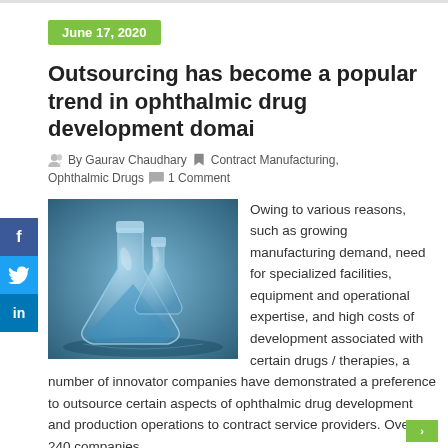June 17, 2020
Outsourcing has become a popular trend in ophthalmic drug development domai
By Gaurav Chaudhary  Contract Manufacturing, Ophthalmic Drugs  1 Comment
[Figure (photo): Laboratory flasks/glassware with blue liquid on reflective surface]
Owing to various reasons, such as growing manufacturing demand, need for specialized facilities, equipment and operational expertise, and high costs of development associated with certain drugs / therapies, a number of innovator companies have demonstrated a preference to outsource certain aspects of ophthalmic drug development and production operations to contract service providers. Over 240 companies